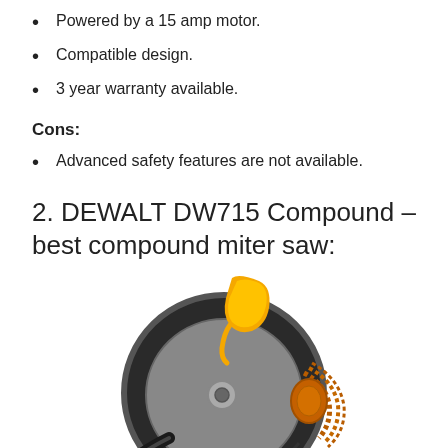Powered by a 15 amp motor.
Compatible design.
3 year warranty available.
Cons:
Advanced safety features are not available.
2. DEWALT DW715 Compound – best compound miter saw:
[Figure (photo): Photo of DEWALT DW715 compound miter saw, showing the circular blade guard and yellow handle from a close-up angle.]